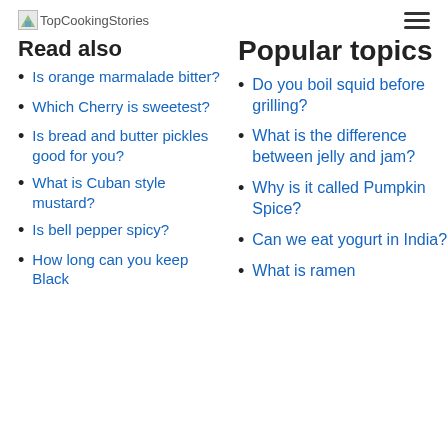TopCookingStories
Read also
Is orange marmalade bitter?
Which Cherry is sweetest?
Is bread and butter pickles good for you?
What is Cuban style mustard?
Is bell pepper spicy?
How long can you keep Black
Popular topics
Do you boil squid before grilling?
What is the difference between jelly and jam?
Why is it called Pumpkin Spice?
Can we eat yogurt in India?
What is ramen